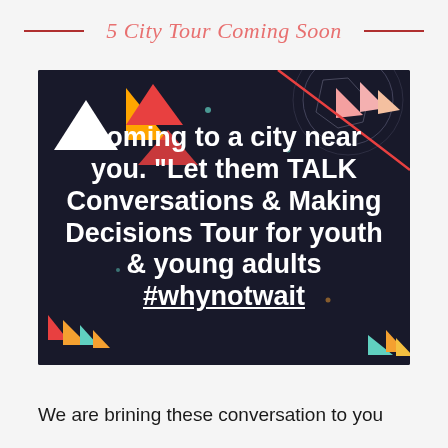5 City Tour Coming Soon
[Figure (illustration): Dark background promotional image with colorful geometric shapes (triangles in red, orange, white, teal) and bold white text reading: Coming to a city near you. "Let them TALK Conversations & Making Decisions Tour for youth & young adults #whynotwait]
We are brining these conversation to you